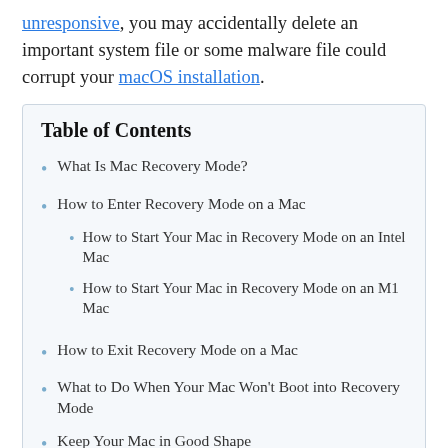unresponsive, you may accidentally delete an important system file or some malware file could corrupt your macOS installation.
Table of Contents
What Is Mac Recovery Mode?
How to Enter Recovery Mode on a Mac
How to Start Your Mac in Recovery Mode on an Intel Mac
How to Start Your Mac in Recovery Mode on an M1 Mac
How to Exit Recovery Mode on a Mac
What to Do When Your Mac Won't Boot into Recovery Mode
Keep Your Mac in Good Shape